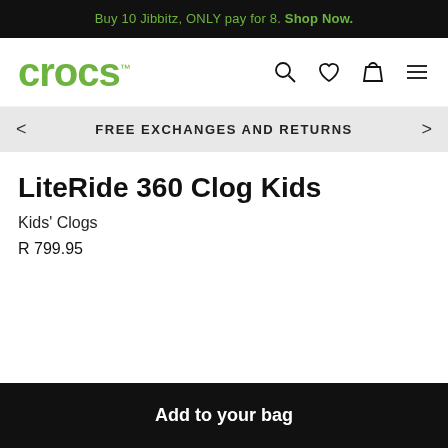Buy 10 Jibbitz, ONLY pay for 8. Shop Now.
[Figure (logo): Crocs logo in green with TM symbol, followed by navigation icons: search, heart/wishlist, shopping bag, and hamburger menu]
FREE EXCHANGES AND RETURNS
LiteRide 360 Clog Kids
Kids’ Clogs
R 799.95
Add to your bag